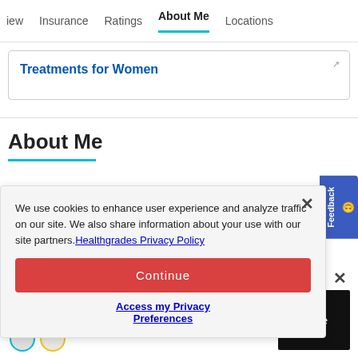iew   Insurance   Ratings   About Me   Locations
Treatments for Women
About Me
We use cookies to enhance user experience and analyze traffic on our site. We also share information about your use with our site partners. Healthgrades Privacy Policy
Continue
Access my Privacy Preferences
escent   as over 25
more